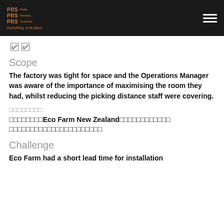PRS Pallet Racking Solutions — Everything, in its place
[Figure (logo): PRS Pallet Racking Solutions logo with orange text and tagline 'Everything, in its place' on black background]
🔲🔲
Scope
The factory was tight for space and the Operations Manager was aware of the importance of maximising the room they had, whilst reducing the picking distance staff were covering.
□□□□□□□□
□□□□□□□□Eco Farm New Zealand□□□□□□□□□□□□□□□□□□□□□□□□□□□□□□□□□□□□
Challenge
Eco Farm had a short lead time for installation